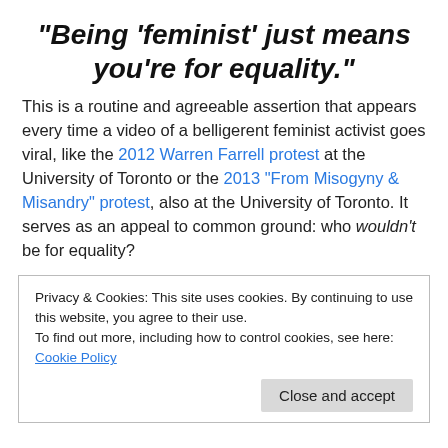“Being ‘feminist’ just means you’re for equality.”
This is a routine and agreeable assertion that appears every time a video of a belligerent feminist activist goes viral, like the 2012 Warren Farrell protest at the University of Toronto or the 2013 “From Misogyny & Misandry” protest, also at the University of Toronto. It serves as an appeal to common ground: who wouldn’t be for equality?
Privacy & Cookies: This site uses cookies. By continuing to use this website, you agree to their use. To find out more, including how to control cookies, see here: Cookie Policy